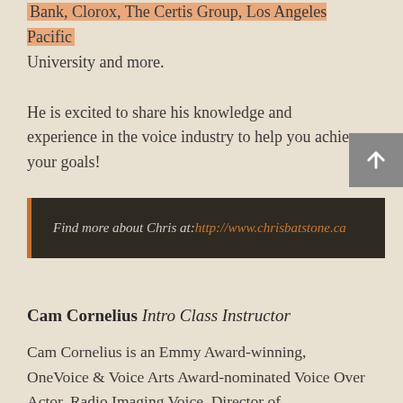Bank, Clorox, The Certis Group, Los Angeles Pacific University and more.
He is excited to share his knowledge and experience in the voice industry to help you achieve your goals!
[Figure (other): Dark banner with text: Find more about Chris at: http://www.chrisbatstone.ca]
Cam Cornelius Intro Class Instructor
Cam Cornelius is an Emmy Award-winning, OneVoice & Voice Arts Award-nominated Voice Over Actor, Radio Imaging Voice, Director of Photography, Video Producer, and Podcast Host.